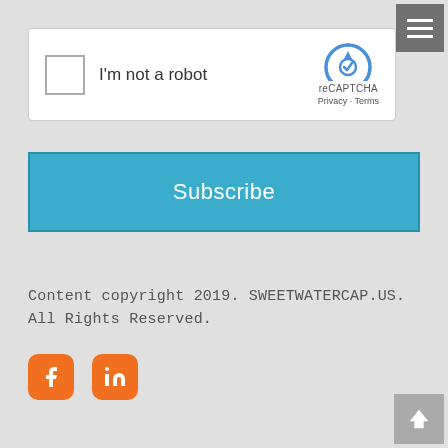[Figure (screenshot): reCAPTCHA widget with checkbox and 'I'm not a robot' text, with reCAPTCHA logo on the right]
[Figure (screenshot): Blue Subscribe button]
Content copyright 2019. SWEETWATERCAP.US. All Rights Reserved.
[Figure (other): Social media icons: Facebook and LinkedIn, orange rounded square buttons]
[Figure (other): Hamburger menu button top right]
[Figure (other): Back to top arrow button bottom right]